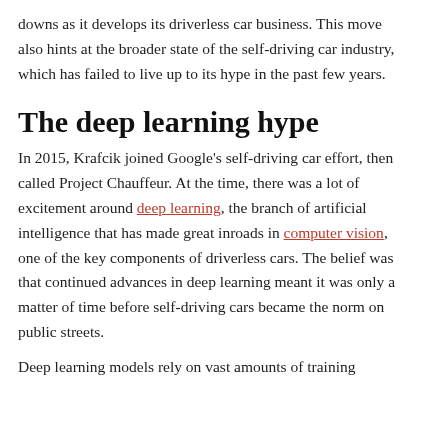downs as it develops its driverless car business. This move also hints at the broader state of the self-driving car industry, which has failed to live up to its hype in the past few years.
The deep learning hype
In 2015, Krafcik joined Google's self-driving car effort, then called Project Chauffeur. At the time, there was a lot of excitement around deep learning, the branch of artificial intelligence that has made great inroads in computer vision, one of the key components of driverless cars. The belief was that continued advances in deep learning meant it was only a matter of time before self-driving cars became the norm on public streets.
Deep learning models rely on vast amounts of training